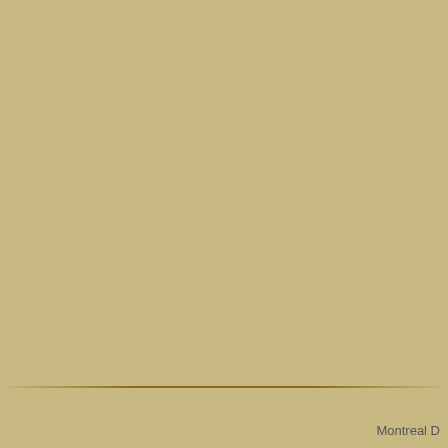MONTREAL TRANSPORTATION _ Go Mo
Welcome to Go Montreal Transportations. You montreal restaurants, montreal accommodatio
URL: http://www.go-montreal.com
(0 Reviews. Rating: Total Votes: )
Montreal Transportation - Montreal Car, Tr
Getting around Montreal, Canada. Walking, dr transportation tips. Get real advice from real tr
URL: http://www.virtualtourist.com
(0 Reviews. Rating: Total Votes: )
Montreal transportation - SmarterTravel.co
Montreal is easy to navigate, whether by foot o
URL: http://www.smartertravel.com
(0 Reviews. Rating: Total Votes: )
No Ne
Total records: 9
Montreal D